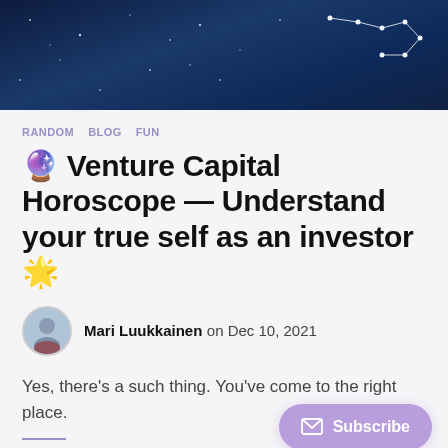[Figure (illustration): Dark blue night sky hero image with stars and a constellation (Big Dipper) drawn with white dots and lines in the top right corner]
RANDOM   BLOG   FUN
🔮 Venture Capital Horoscope — Understand your true self as an investor 🌟
Mari Luukkainen  on Dec 10, 2021
Yes, there's a such thing. You've come to the right place.
Aries (March 21–April 19)